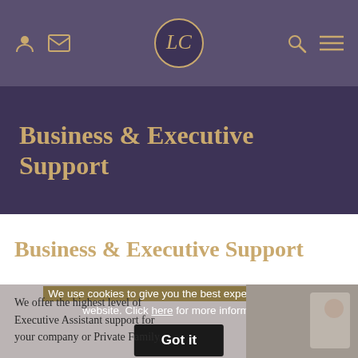Navigation bar with user icon, mail icon, logo, search icon, menu icon
Business & Executive Support
Business & Executive Support
We use cookies to give you the best experience on our website. Click here for more information.
Got it
We offer the highest level of Executive Assistant support for your company or Private Family